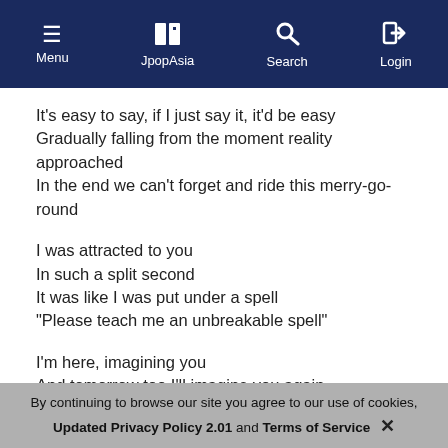Menu | JpopAsia | Search | Login
It's easy to say, if I just say it, it'd be easy
Gradually falling from the moment reality approached
In the end we can't forget and ride this merry-go-round
I was attracted to you
In such a split second
It was like I was put under a spell
"Please teach me an unbreakable spell"
I'm here, imagining you
And tomorrow too I'll imagine you again
Without looking back, I moved forward
I wonder if you faced towards me
Without looking back, I moved forward
This is my last courage
No it don't matter now (no!)
By continuing to browse our site you agree to our use of cookies, Updated Privacy Policy 2.01 and Terms of Service ✕